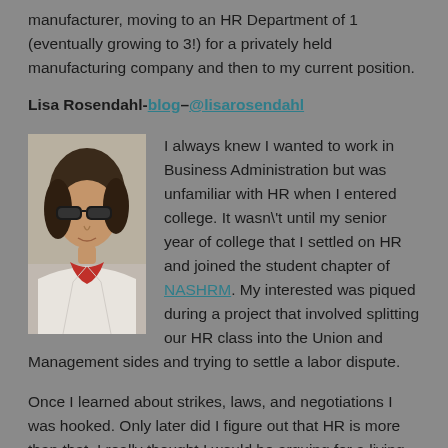manufacturer, moving to an HR Department of 1 (eventually growing to 3!) for a privately held manufacturing company and then to my current position.
Lisa Rosendahl-blog-@lisarosendahl
[Figure (photo): Profile photo of Lisa Rosendahl, a woman with dark hair and sunglasses, wearing a white jacket with a red scarf, photographed outdoors.]
I always knew I wanted to work in Business Administration but was unfamiliar with HR when I entered college. It wasn't until my senior year of college that I settled on HR and joined the student chapter of NASHRM. My interested was piqued during a project that involved splitting our HR class into the Union and Management sides and trying to settle a labor dispute.
Once I learned about strikes, laws, and negotiations I was hooked. Only later did I figure out that HR is more than that. I really thought I would be arguing for a living and briefly